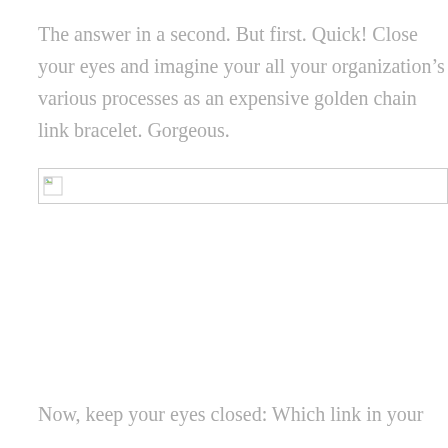The answer in a second. But first. Quick! Close your eyes and imagine your all your organization’s various processes as an expensive golden chain link bracelet. Gorgeous.
[Figure (illustration): Broken image placeholder icon with a small landscape thumbnail icon in top-left corner]
Now, keep your eyes closed: Which link in your